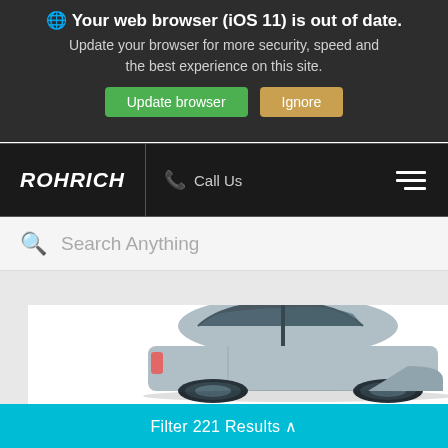Your web browser (iOS 11) is out of date. Update your browser for more security, speed and the best experience on this site.
Update browser | Ignore
[Figure (screenshot): Rohrich dealership website navigation bar showing logo, Call Us link, and hamburger menu on dark background]
Search Anything
[Figure (photo): Partial view of a silver/blue sedan car from the side and rear, shown against white background]
Filter 221 Results ^